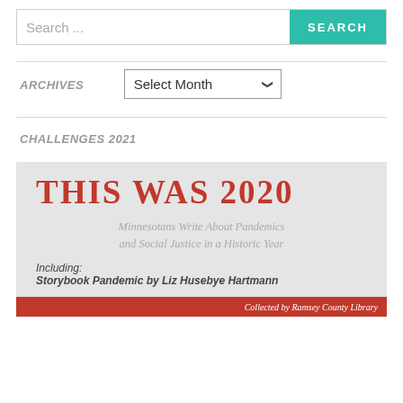Search ...
ARCHIVES
Select Month
CHALLENGES 2021
[Figure (illustration): Book cover for 'THIS WAS 2020: Minnesotans Write About Pandemics and Social Justice in a Historic Year'. Red title text on light gray background. Subtitle in gray italic. Text reads 'Including: Storybook Pandemic by Liz Husebye Hartmann'. Red bar at bottom reads 'Collected by Ramsey County Library'.]